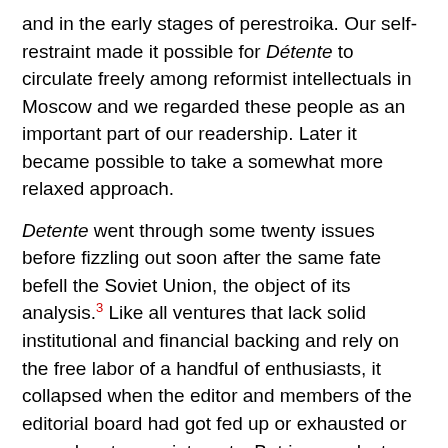and in the early stages of perestroika. Our self-restraint made it possible for Détente to circulate freely among reformist intellectuals in Moscow and we regarded these people as an important part of our readership. Later it became possible to take a somewhat more relaxed approach.
Detente went through some twenty issues before fizzling out soon after the same fate befell the Soviet Union, the object of its analysis.3 Like all ventures that lack solid institutional and financial backing and rely on the free labor of a handful of enthusiasts, it collapsed when the editor and members of the editorial board had got fed up or exhausted or moved on to new interests. But in a modest way it had already served its purpose.
Notes to Chapter 13
1. One dramatic sign was the leaking of the "Zaslavskaya Report," a paper on economic reform delivered by Academician Tatyana Zaslavskaya to...